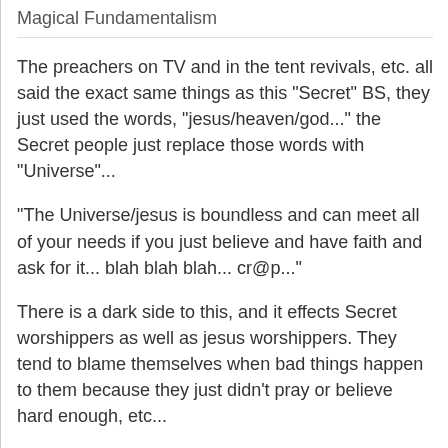Magical Fundamentalism
The preachers on TV and in the tent revivals, etc. all said the exact same things as this "Secret" BS, they just used the words, "jesus/heaven/god..." the Secret people just replace those words with "Universe"...
"The Universe/jesus is boundless and can meet all of your needs if you just believe and have faith and ask for it... blah blah blah... cr@p..."
There is a dark side to this, and it effects Secret worshippers as well as jesus worshippers. They tend to blame themselves when bad things happen to them because they just didn't pray or believe hard enough, etc...
That is a setup full of guilt and spirals down into oblivion...
BAD BAD stuff, man! Run away!